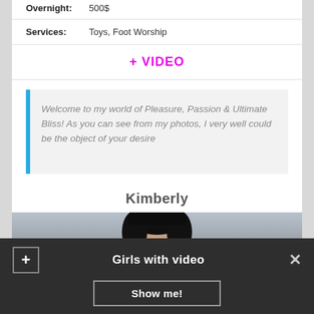Overnight: 500$
Services: Toys, Foot Worship
+ VIDEO
Welcome to my world of Pleasure, Passion & Ultimate Bliss! As you can see from my photos, I very well could be the object of your desire
Kimberly
[Figure (photo): Partial photo of a dark-haired woman]
Girls with video
Show me!